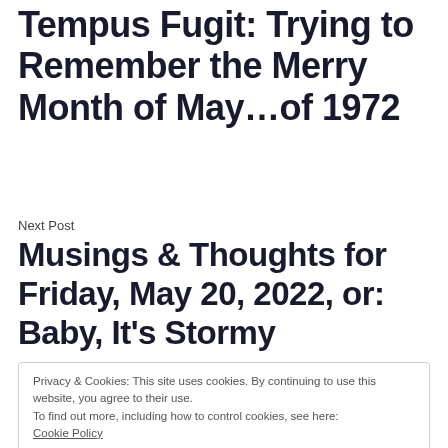Tempus Fugit: Trying to Remember the Merry Month of May...of 1972
Next Post
Musings & Thoughts for Friday, May 20, 2022, or: Baby, It's Stormy
Privacy & Cookies: This site uses cookies. By continuing to use this website, you agree to their use. To find out more, including how to control cookies, see here: Cookie Policy
Close and accept